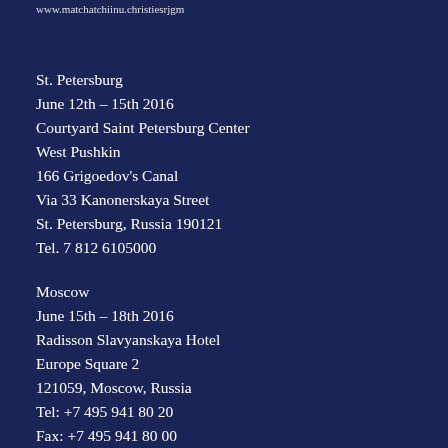www.matchatchiinu.christiesrjgm
St. Petersburg
June 12th – 15th 2016
Courtyard Saint Petersburg Center
West Pushkin
166 Grigoedov's Canal
Via 33 Kanonerskaya Street
St. Petersburg, Russia 190121
Tel. 7 812 6105000
Moscow
June 15th – 18th 2016
Radisson Slavyanskaya Hotel
Europe Square 2
121059, Moscow, Russia
Tel: +7 495 941 80 20
Fax: +7 495 941 80 00
www.radisson.ru